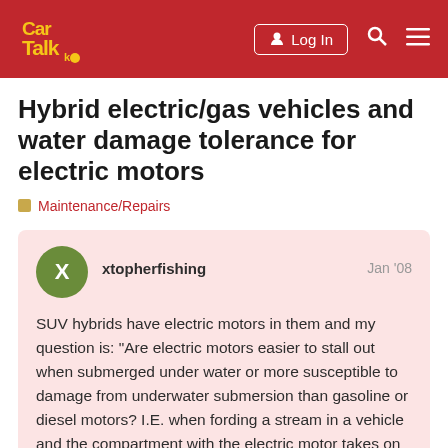Car Talk — Log In
Hybrid electric/gas vehicles and water damage tolerance for electric motors
Maintenance/Repairs
xtopherfishing  Jan '08
SUV hybrids have electric motors in them and my question is: "Are electric motors easier to stall out when submerged under water or more susceptible to damage from underwater submersion than gasoline or diesel motors? I.E. when fording a stream in a vehicle and the compartment with the electric motor takes on